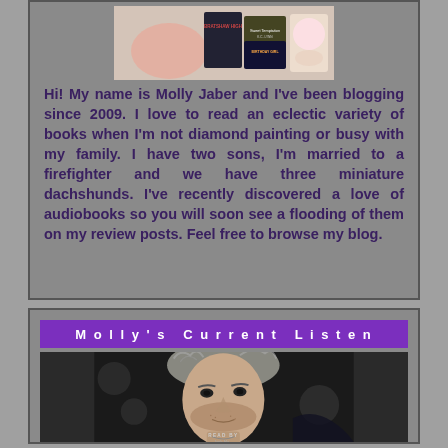[Figure (photo): Book covers collage image at top of bio card]
Hi! My name is Molly Jaber and I've been blogging since 2009. I love to read an eclectic variety of books when I'm not diamond painting or busy with my family. I have two sons, I'm married to a firefighter and we have three miniature dachshunds. I've recently discovered a love of audiobooks so you will soon see a flooding of them on my review posts. Feel free to browse my blog.
Molly's Current Listen
[Figure (photo): Black and white photo of a man's face for audiobook cover, with text 'READ BY' visible at bottom]